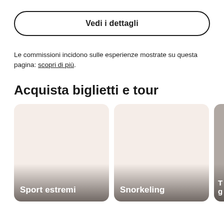Vedi i dettagli
Le commissioni incidono sulle esperienze mostrate su questa pagina: scopri di più.
Acquista biglietti e tour
[Figure (photo): Card with label Sport estremi on a pinkish background]
[Figure (photo): Card with label Snorkeling on a pinkish background]
[Figure (photo): Partially visible card on right side with label starting with T g]